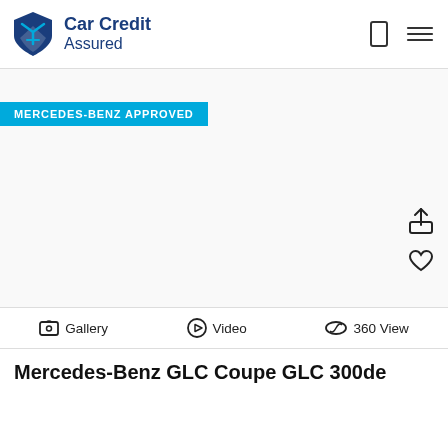Car Credit Assured
[Figure (illustration): Car listing image area with Mercedes-Benz Approved badge overlay, share and favourite icons on right side. Image area is mostly white/empty.]
MERCEDES-BENZ APPROVED
Gallery  Video  360 View
Mercedes-Benz GLC Coupe GLC 300de